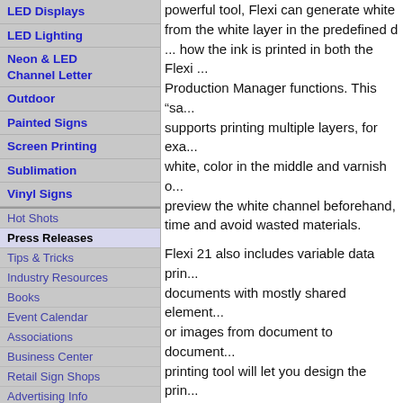LED Displays
LED Lighting
Neon & LED Channel Letter
Outdoor
Painted Signs
Screen Printing
Sublimation
Vinyl Signs
Hot Shots
Press Releases
Tips & Tricks
Industry Resources
Books
Event Calendar
Associations
Business Center
Retail Sign Shops
Advertising Info
powerful tool, Flexi can generate white... from the white layer in the predefined d... how the ink is printed in both the Flexi ... Production Manager functions. This "sa... supports printing multiple layers, for exa... white, color in the middle and varnish o... preview the white channel beforehand, ... time and avoid wasted materials.
Flexi 21 also includes variable data prin... documents with mostly shared element... or images from document to document.... printing tool will let you design the prin... select the element that will change per... the data to be used. This feature suppo... (including raster files, transparent pngs... text, QR codes, data matrix, barcodes,...
Created as an all-in-one solution for de... direct-to-vinyl production workflow, Fle... advanced features including:
Jig templates – Allows users to de... that will precisely match the jig or... on multiple parts, such as phone...
Enhanced printing while RIPping... wait for the print job to finishing ri...
[Figure (photo): Black and white photo, partially visible at bottom left]